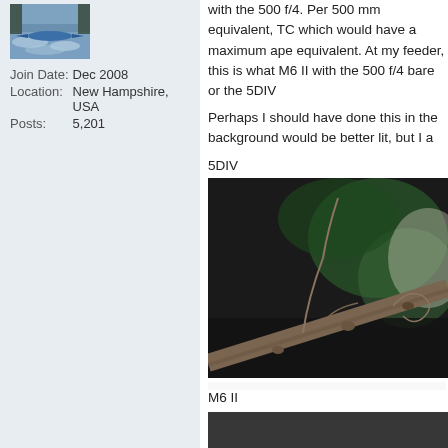[Figure (photo): Profile photo showing a blue kayak on water with rapids]
Join Date: Dec 2008
Location: New Hampshire, USA
Posts: 5,201
with the 500 f/4. Per 500 mm equivalent, TC which would have a maximum ape equivalent. At my feeder, this is what M6 II with the 500 f/4 bare or the 5DIV
Perhaps I should have done this in the background would be better lit, but I a
5DIV
[Figure (photo): Close-up photo of a bare thorny branch or twig against a dark blurred green background]
M6 II
[Figure (photo): Partially visible photo at the bottom of the page]